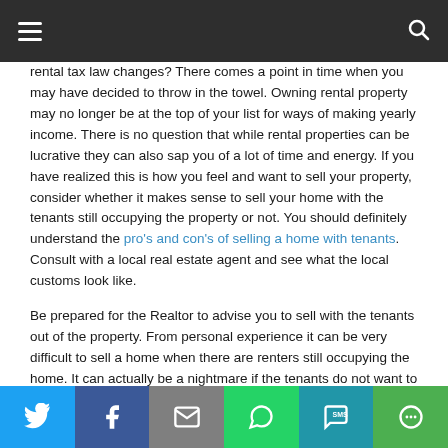≡  🔍
rental tax law changes? There comes a point in time when you may have decided to throw in the towel. Owning rental property may no longer be at the top of your list for ways of making yearly income. There is no question that while rental properties can be lucrative they can also sap you of a lot of time and energy. If you have realized this is how you feel and want to sell your property, consider whether it makes sense to sell your home with the tenants still occupying the property or not. You should definitely understand the pro's and con's of selling a home with tenants. Consult with a local real estate agent and see what the local customs look like.
Be prepared for the Realtor to advise you to sell with the tenants out of the property. From personal experience it can be very difficult to sell a home when there are renters still occupying the home. It can actually be a nightmare if the tenants do not want to leave. They will make showings difficult and more than likely not keep the property in show-ready
Twitter | Facebook | Email | WhatsApp | SMS | More